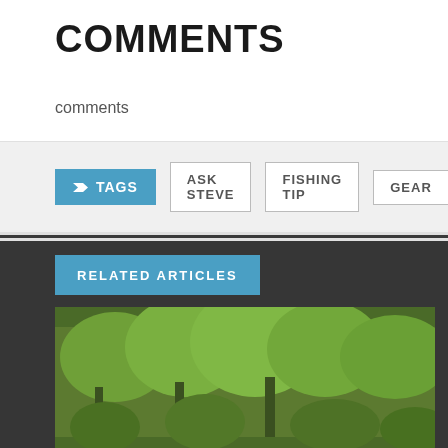COMMENTS
comments
TAGS | ASK STEVE | FISHING TIP | GEAR
RELATED ARTICLES
[Figure (photo): Person paddling a blue rowboat on a lake with lush green trees and shrubs in the background]